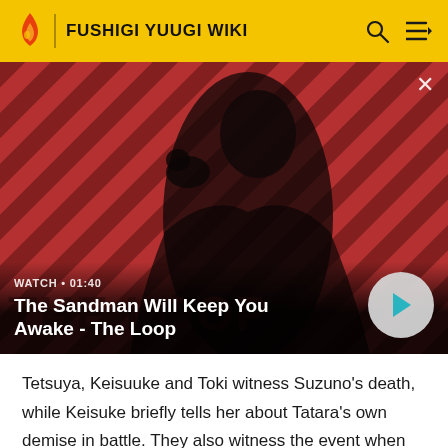FUSHIGI YUUGI WIKI
[Figure (screenshot): Video thumbnail showing a dark-cloaked figure with a crow on their shoulder against a red and black diagonal striped background. Labeled 'The Sandman Will Keep You Awake - The Loop' with a play button and WATCH • 01:40 label.]
Tetsuya, Keisuuke and Toki witness Suzuno's death, while Keisuke briefly tells her about Tatara's own demise in battle. They also witness the event when Tatara and Suzuno's souls were reunited in the forms when they